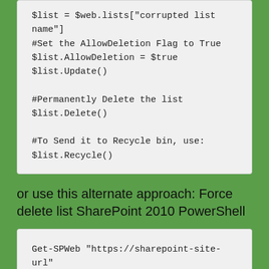$list = $web.lists["corrupted list name"]
#Set the AllowDeletion Flag to True
$list.AllowDeletion = $true
$list.Update()

#Permanently Delete the list
$list.Delete()

#To Send it to Recycle bin, use:
$list.Recycle()
or use this alternate approach: Force delete list SharePoint 2010 PowerShell
Get-SPWeb "https://sharepoint-site-url" | where-object { $_.Lists["corrupted list name"].Delete() }